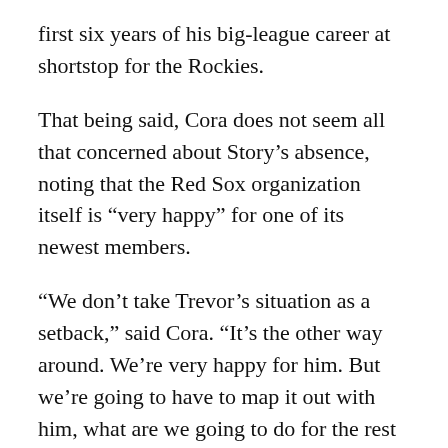first six years of his big-league career at shortstop for the Rockies.
That being said, Cora does not seem all that concerned about Story's absence, noting that the Red Sox organization itself is “very happy” for one of its newest members.
“We don’t take Trevor’s situation as a setback,” said Cora. “It’s the other way around. We’re very happy for him. But we’re going to have to map it out with him, what are we going to do for the rest of the spring?”
When Story does return to Fort Myers in the coming days, he will have less than two weeks